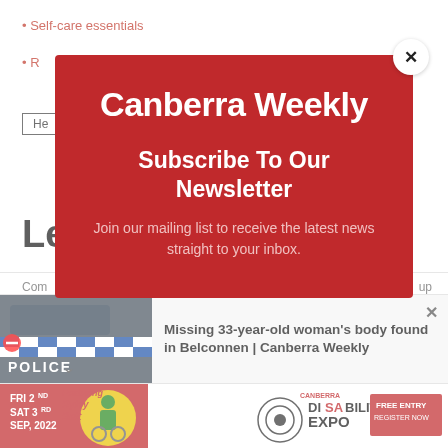Self-care essentials
R...
[Figure (screenshot): Canberra Weekly newsletter subscription modal overlaid on a webpage. The modal has a red background, displays the 'Canberra Weekly' logo in white, with heading 'Subscribe To Our Newsletter' and subtext 'Join our mailing list to receive the latest news straight to your inbox.' A close button (X) appears top-right of the modal.]
Missing 33-year-old woman's body found in Belconnen | Canberra Weekly
[Figure (photo): Police car with checkered blue and white livery, police hood, red no-entry sign visible.]
[Figure (infographic): Advertisement banner for Canberra Disability Expo, FRI 2ND SAT 3RD SEP, 2022, Featuring Ryley Batt, Free Entry Register Now.]